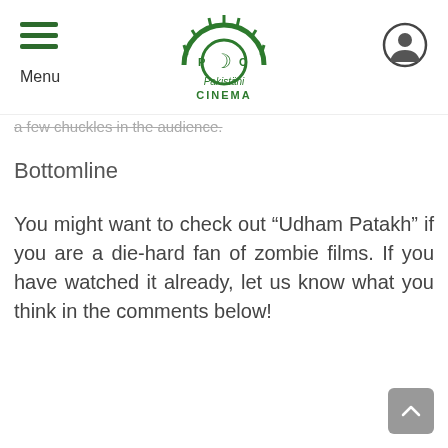Menu | Pakistani Cinema logo | user icon
a few chuckles in the audience.
Bottomline
You might want to check out “Udham Patakh” if you are a die-hard fan of zombie films. If you have watched it already, let us know what you think in the comments below!